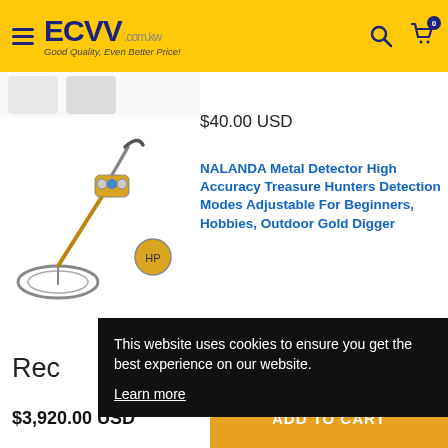ECVV.com.kw — Good Quality, Even Better Price!
[Figure (photo): Partial product thumbnail images at top, and NALANDA metal detector product image showing the full detector unit with search coil]
$40.00 USD
NALANDA Metal Detector High Accuracy Treasure Hunters Detection Modes Adjustable For Beginners, Hobbies, Outdoor Gold Digger
This website uses cookies to ensure you get the best experience on our website.
Learn more
Rec
1
$3,920.00 USD
ADD TO CART